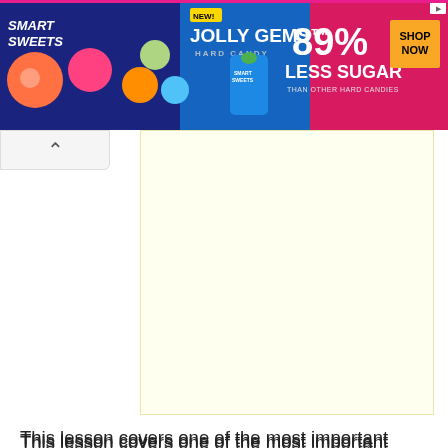[Figure (photo): Smart Sweets Jolly Gems Hard Candy advertisement banner. Blue/purple background with colorful candy graphics. Text reads: NEW! JOLLY GEMS Hard Candy, SMART SWEETS, 89% LESS SUGAR THAN OTHER HARD CANDIES, SHOP NOW button.]
[Figure (other): Pale yellow advertisement placeholder area below the banner, with collapse/chevron button on the left.]
This lesson covers one of the most important grammar topics in the language: Spanish subject pronouns – Los pronombres personales. This kind of pronouns are used in every single conversation that we have. Learning how to use them is fundamental to communicate our ideas accurately. Here, you will find a list of these pronouns, but more importantly, we will teach you how to make meaningful, grammatically correct sentences with personal pronouns in Spanish.